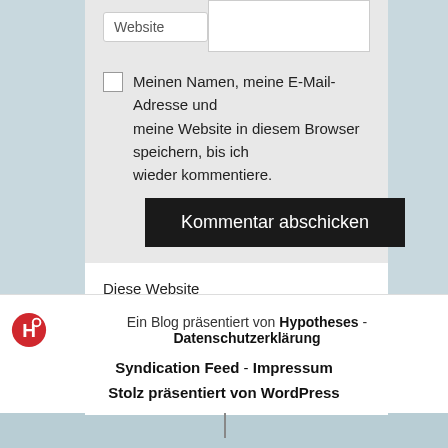Website
Meinen Namen, meine E-Mail-Adresse und meine Website in diesem Browser speichern, bis ich wieder kommentiere.
Kommentar abschicken
Diese Website verwendet Akismet, um Spam zu reduzieren. Erfahre mehr darüber, wie deine Kommentardaten verarbeitet werden.
Ein Blog präsentiert von Hypotheses - Datenschutzerklärung
Syndication Feed - Impressum
Stolz präsentiert von WordPress